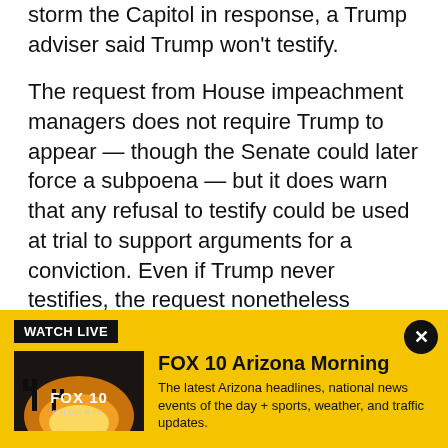storm the Capitol in response, a Trump adviser said Trump won't testify.
The request from House impeachment managers does not require Trump to appear — though the Senate could later force a subpoena — but it does warn that any refusal to testify could be used at trial to support arguments for a conviction. Even if Trump never testifies, the request nonetheless makes clear Democrats' determination to present an aggressive case against him even though he has left the White House.
[Figure (screenshot): Fox 10 Arizona Morning watch live banner with yellow background, Fox 10 Phoenix thumbnail image, show title and description]